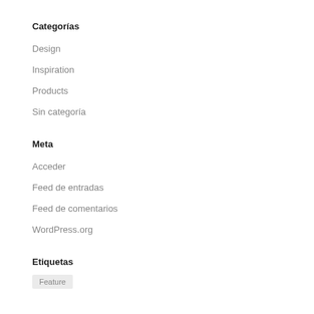Categorías
Design
Inspiration
Products
Sin categoría
Meta
Acceder
Feed de entradas
Feed de comentarios
WordPress.org
Etiquetas
Feature